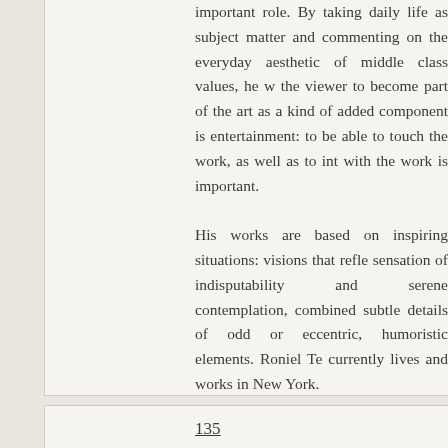important role. By taking daily life as subject matter and commenting on the everyday aesthetic of middle class values, he wants the viewer to become part of the art as a kind of added component. This is entertainment: to be able to touch the work, as well as to interact with the work is important. His works are based on inspiring situations: visions that reflect a sensation of indisputability and serene contemplation, combined with subtle details of odd or eccentric, humoristic elements. Roniel Te currently lives and works in New York.
135
Asdfghjkl
Christina
Fukyou